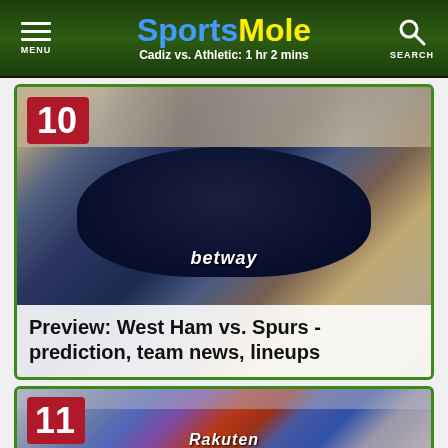SportsMole — Cadiz vs. Athletic: 1 hr 2 mins
[Figure (photo): Article card 10: Photo of a man in a West Ham 'betway' navy shirt shouting, with crowd in background. Overlay text: Preview: West Ham vs. Spurs - prediction, team news, lineups]
[Figure (photo): Article card 11: Photo of a footballer in a Barcelona red/blue kit with 'Rakuten' sponsor, crowd in background]